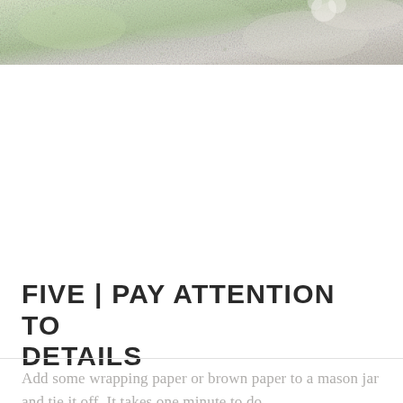[Figure (photo): Top portion of a photo showing textured greenish-white and beige materials, possibly bath salts or powders in a bag or container, softly lit with a pale, muted color palette.]
FIVE | PAY ATTENTION TO DETAILS
Add some wrapping paper or brown paper to a mason jar and tie it off. It takes one minute to do